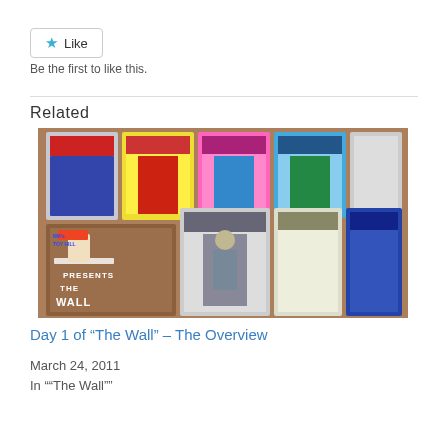Like
Be the first to like this.
Related
[Figure (photo): A wall display of vintage action figure toy packages mounted on a brick wall, titled 'PRESENTS THE WALL', with various superhero and sci-fi character cards/packages including Batman, Robin, Star Trek characters, and others.]
Day 1 of "The Wall" – The Overview
March 24, 2011
In ""The Wall""